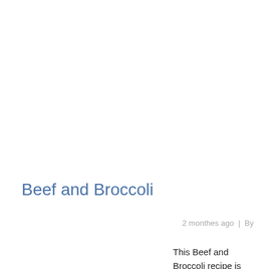Beef and Broccoli
2 monthes ago  |  By
This Beef and Broccoli recipe is EASY to make with